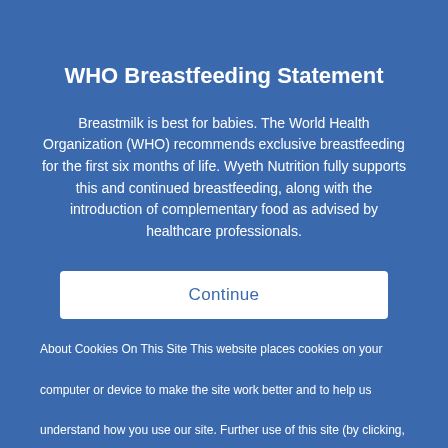WHO Breastfeeding Statement
Breastmilk is best for babies. The World Health Organization (WHO) recommends exclusive breastfeeding for the first six months of life. Wyeth Nutrition fully supports this and continued breastfeeding, along with the introduction of complementary food as advised by healthcare professionals.
Continue
About Cookies On This Site This website places cookies on your computer or device to make the site work better and to help us understand how you use our site. Further use of this site (by clicking,